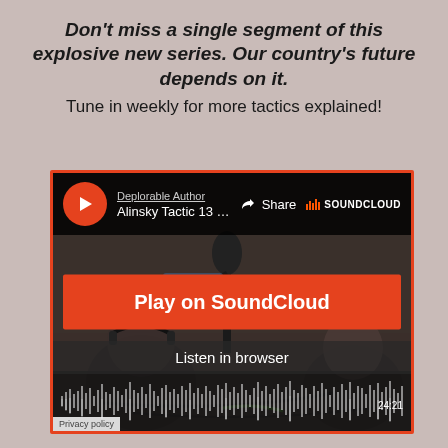Don't miss a single segment of this explosive new series. Our country's future depends on it. Tune in weekly for more tactics explained!
[Figure (screenshot): SoundCloud embedded player showing 'Alinsky Tactic 13 With Capta...' by Deplorable Author, with Play on SoundCloud button, Listen in browser option, audio waveform, and a background photo of two people in a radio studio. Duration shown as 24:21.]